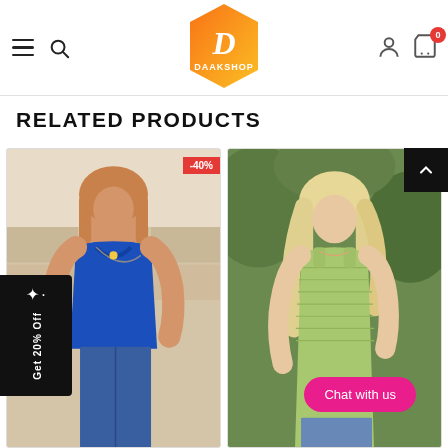DAAKSHOP navigation header with hamburger menu, search, logo, user icon, and cart icon showing 0 items
RELATED PRODUCTS
[Figure (photo): Woman wearing blue sleeveless tank top with cross-strap detail, with -40% discount badge]
[Figure (photo): Woman wearing light green ribbed sleeveless tank top, partially cropped]
Get 20% Off
Chat with us